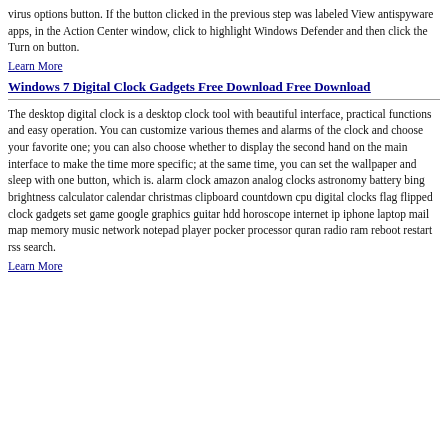virus options button. If the button clicked in the previous step was labeled View antispyware apps, in the Action Center window, click to highlight Windows Defender and then click the Turn on button.
Learn More
Windows 7 Digital Clock Gadgets Free Download Free Download
The desktop digital clock is a desktop clock tool with beautiful interface, practical functions and easy operation. You can customize various themes and alarms of the clock and choose your favorite one; you can also choose whether to display the second hand on the main interface to make the time more specific; at the same time, you can set the wallpaper and sleep with one button, which is. alarm clock amazon analog clocks astronomy battery bing brightness calculator calendar christmas clipboard countdown cpu digital clocks flag flipped clock gadgets set game google graphics guitar hdd horoscope internet ip iphone laptop mail map memory music network notepad player pocker processor quran radio ram reboot restart rss search.
Learn More